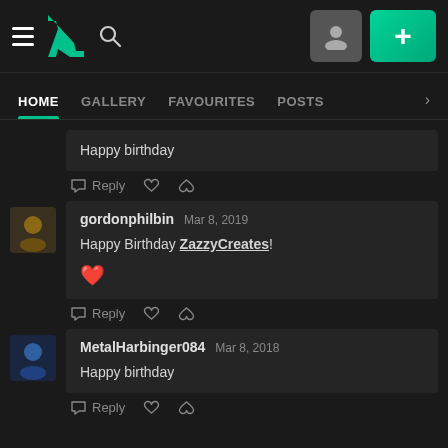DeviantArt navigation bar with hamburger menu, logo, search, profile and plus buttons
HOME | GALLERY | FAVOURITES | POSTS
Happy birthday
Reply
gordonphilbin  Mar 8, 2019
Happy Birthday ZazzyCreates!
❤️
Reply
MetalHarbinger084  Mar 8, 2018
Happy birthday
Reply